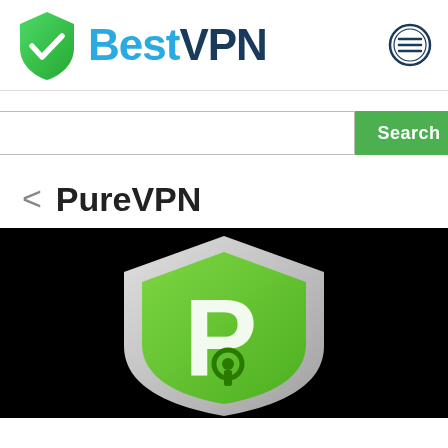[Figure (logo): BestVPN logo with green shield checkmark and text BestVPN]
[Figure (logo): Hamburger menu circle icon]
[Figure (screenshot): Search bar with Search button]
PureVPN
[Figure (logo): PureVPN logo - green shield with white P and keyhole on black background]